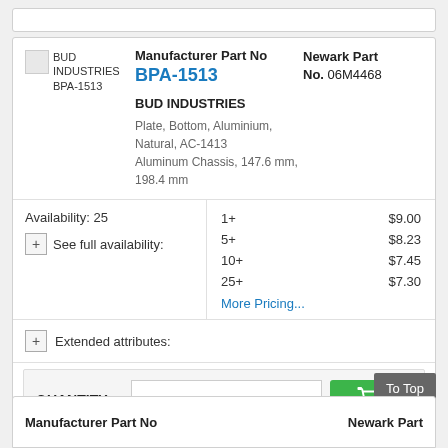[Figure (other): Top stub of a product card partially visible at the top of the page]
[Figure (logo): BUD INDUSTRIES BPA-1513 product image placeholder]
Manufacturer Part No
BPA-1513
Newark Part No. 06M4468
BUD INDUSTRIES
Plate, Bottom, Aluminium, Natural, AC-1413 Aluminum Chassis, 147.6 mm, 198.4 mm
Availability: 25
+ See full availability:
| Qty | Price |
| --- | --- |
| 1+ | $9.00 |
| 5+ | $8.23 |
| 10+ | $7.45 |
| 25+ | $7.30 |
More Pricing...
+ Extended attributes:
QUANTITY
1
[Figure (other): Green add to cart button with shopping cart icon]
To Top
Manufacturer Part No
Newark Part